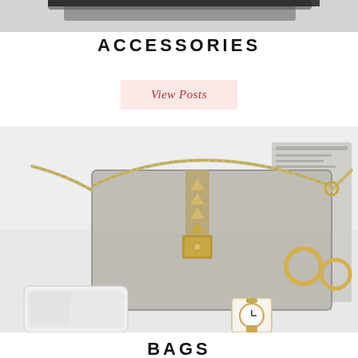[Figure (photo): Partial top strip of a fashion accessories photo — dark accessories visible at top edge]
ACCESSORIES
View Posts
[Figure (photo): A light grey structured crossbody handbag with gold pyramid studs and chain strap, displayed on a white surface alongside a white smartphone, a minimalist white watch with gold case, gold hoop earrings, and a grey phone case/book]
BAGS